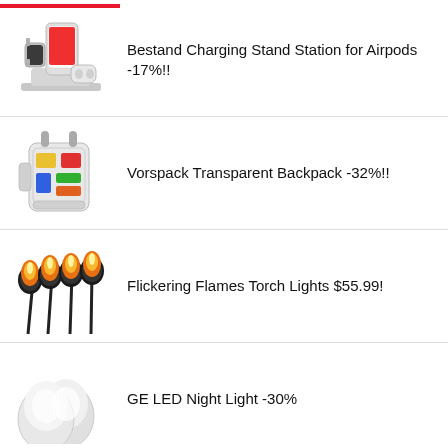Bestand Charging Stand Station for Airpods -17%!!
Vorspack Transparent Backpack -32%!!
Flickering Flames Torch Lights $55.99!
GE LED Night Light -30%